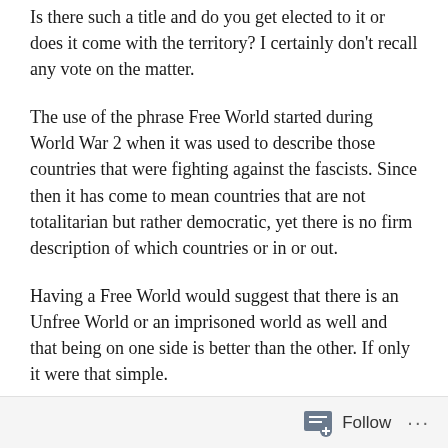Is there such a title and do you get elected to it or does it come with the territory? I certainly don't recall any vote on the matter.
The use of the phrase Free World started during World War 2 when it was used to describe those countries that were fighting against the fascists. Since then it has come to mean countries that are not totalitarian but rather democratic, yet there is no firm description of which countries or in or out.
Having a Free World would suggest that there is an Unfree World or an imprisoned world as well and that being on one side is better than the other. If only it were that simple.
According to the Economist Intelligence Unit Democracy Index of 2017, only ten countries in the world get top marks for the level of their democracy. The UK and USA are
Follow ···